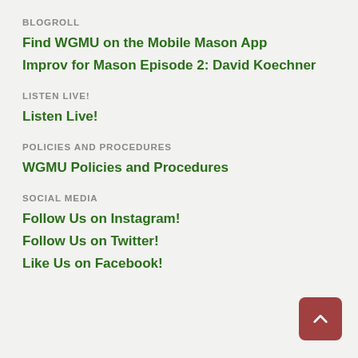BLOGROLL
Find WGMU on the Mobile Mason App
Improv for Mason Episode 2: David Koechner
LISTEN LIVE!
Listen Live!
POLICIES AND PROCEDURES
WGMU Policies and Procedures
SOCIAL MEDIA
Follow Us on Instagram!
Follow Us on Twitter!
Like Us on Facebook!